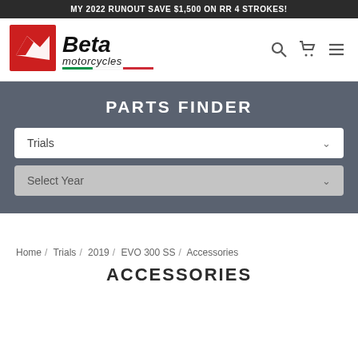MY 2022 RUNOUT SAVE $1,500 ON RR 4 STROKES!
[Figure (logo): Beta Motorcycles logo — red square with stylized white wing/arrow mark on left, bold black 'Beta' text with italic cursive style, and 'motorcycles' below in italic with Italian flag tricolor underline]
PARTS FINDER
Trials
Select Year
Home / Trials / 2019 / EVO 300 SS / Accessories
ACCESSORIES